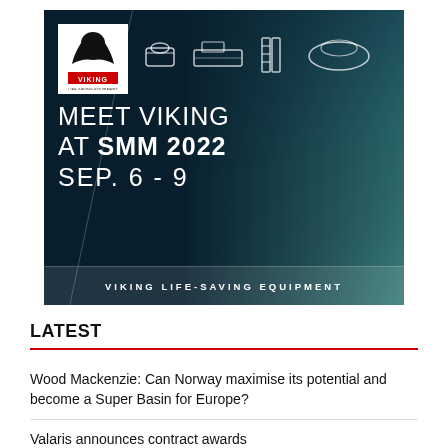[Figure (illustration): Viking Life-Saving Equipment advertisement banner for SMM 2022 trade show, Sep. 6-9. Dark teal ocean background with Viking logo (white square with bird/person icon and red VIKING text), equipment icons (liferaft, vessel, ladder, capsule), text: MEET VIKING AT SMM 2022 SEP. 6 - 9, footer: VIKING LIFE-SAVING EQUIPMENT]
LATEST
Wood Mackenzie: Can Norway maximise its potential and become a Super Basin for Europe?
Valaris announces contract awards
ExxonMobil and Shell to sell interest in Aera Energy joint